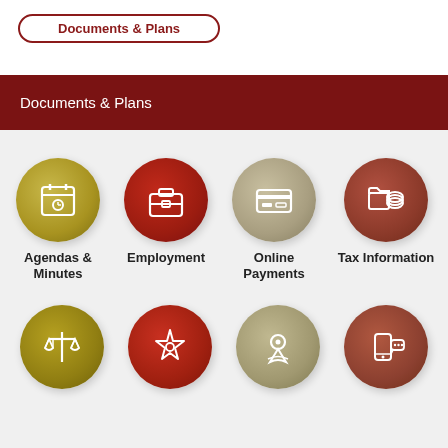Documents & Plans
[Figure (infographic): Government website navigation icons: Agendas & Minutes (gold circle, calendar icon), Employment (dark red circle, briefcase icon), Online Payments (tan circle, credit card icon), Tax Information (brown-red circle, folder/coins icon), and bottom row: Justice scales (gold), Sheriff star (red), Map/Location (tan), Mobile/Chat (brown-red)]
Agendas & Minutes
Employment
Online Payments
Tax Information